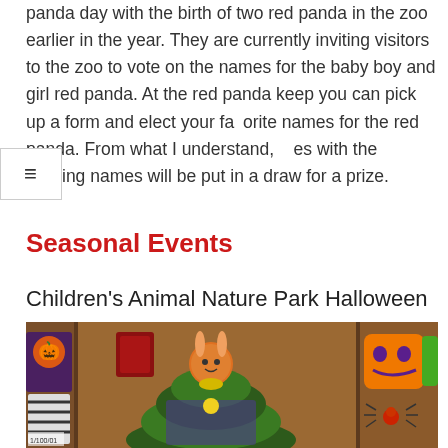panda day with the birth of two red panda in the zoo earlier in the year. They are currently inviting visitors to the zoo to vote on the names for the baby boy and girl red panda. At the red panda keep you can pick up a form and elect your favorite names for the red panda. From what I understand, es with the winning names will be put in a draw for a prize.
Seasonal Events
Children's Animal Nature Park Halloween
[Figure (photo): Halloween-themed display at Children's Animal Nature Park showing decorations including a bunny figure on top of a green mound, pumpkin face cutouts, and a spider decoration on a wooden backdrop.]